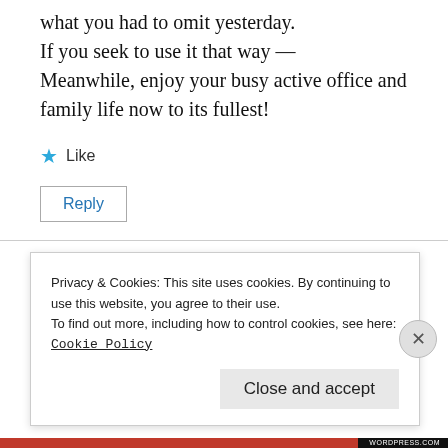what you had to omit yesterday.
If you seek to use it that way —
Meanwhile, enjoy your busy active office and family life now to its fullest!
Like
Reply
Shakti Ghosal
Privacy & Cookies: This site uses cookies. By continuing to use this website, you agree to their use.
To find out more, including how to control cookies, see here:
Cookie Policy
Close and accept